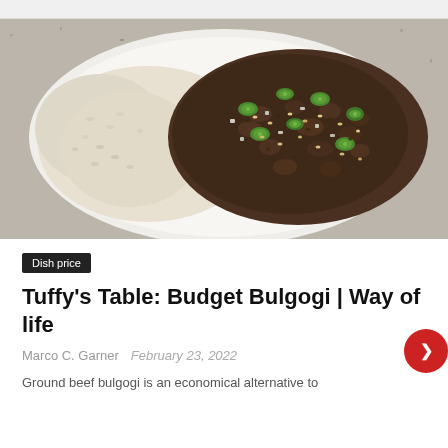[Figure (photo): A white plate containing bulgogi (seasoned ground beef) garnished with sliced green chili peppers, sesame seeds, and diced onions, served alongside white rice, on a granite countertop background.]
Dish price
Tuffy's Table: Budget Bulgogi | Way of life
Marco C. Garner   February 23, 2022
Ground beef bulgogi is an economical alternative to